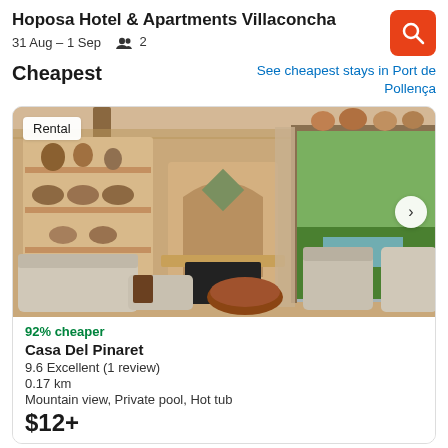Hoposa Hotel & Apartments Villaconcha
31 Aug – 1 Sep   👥 2
Cheapest
See cheapest stays in Port de Pollença
[Figure (photo): Interior photo of a luxury rental villa living room with fireplace, decorative shelving, sofa, armchairs, round wooden coffee table, and large glass doors overlooking a garden and pool area. Has a 'Rental' badge overlay.]
92% cheaper
Casa Del Pinaret
9.6 Excellent (1 review)
0.17 km
Mountain view, Private pool, Hot tub
$12+